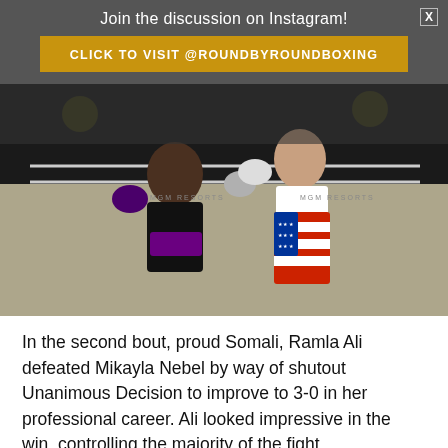Join the discussion on Instagram!
CLICK TO VISIT @ROUNDBYROUNDBOXING
[Figure (photo): Two female boxers in a boxing ring. The boxer on the left wears black shorts and a purple belt, while the boxer on the right wears American flag-themed shorts and a white crop top. The right boxer is throwing a punch at the left boxer.]
In the second bout, proud Somali, Ramla Ali defeated Mikayla Nebel by way of shutout Unanimous Decision to improve to 3-0 in her professional career. Ali looked impressive in the win, controlling the majority of the fight